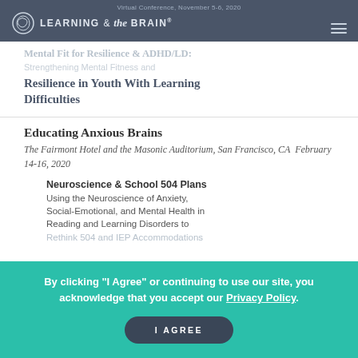Virtual Conference, November 5-6, 2020
LEARNING & the BRAIN®
Mental Fit for Resilience & ADHD/LD: Strengthening Mental Fitness and Resilience in Youth With Learning Difficulties
Educating Anxious Brains
The Fairmont Hotel and the Masonic Auditorium, San Francisco, CA  February 14-16, 2020
Neuroscience & School 504 Plans
Using the Neuroscience of Anxiety, Social-Emotional, and Mental Health in Reading and Learning Disorders to Rethink 504 and IEP Accommodations
By clicking "I Agree" or continuing to use our site, you acknowledge that you accept our Privacy Policy.
I AGREE